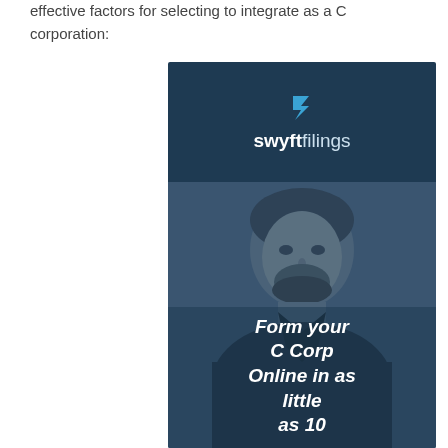effective factors for selecting to integrate as a C corporation:
[Figure (illustration): Swyft Filings advertisement banner with logo at top on dark navy background, photo of a smiling bearded man in dark jacket, and italic white text overlay reading 'Form your C Corp Online in as little as 10']